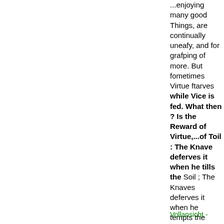...enjoying many good Things, are continually uneafy, and for grafping of more. But fometimes Virtue ftarves while Vice is fed. What then ? Is the Reward of Virtue,...of Toil : The Knave deferves it when he tills the Soil ; The Knaves deferves it when he tempts the Main, Where Madnefs fights, for Tyrants, or for Gain....
Vollansicht -